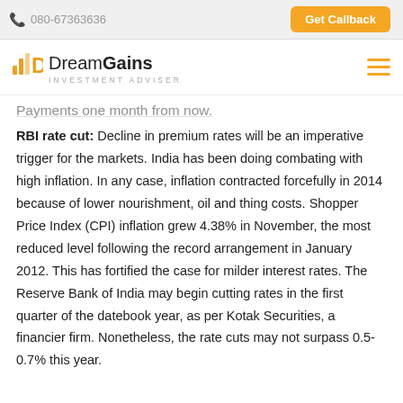080-67363636  Get Callback
[Figure (logo): DreamGains Investment Adviser logo with stylized bar chart icon]
Payments one month from now.
RBI rate cut: Decline in premium rates will be an imperative trigger for the markets. India has been doing combating with high inflation. In any case, inflation contracted forcefully in 2014 because of lower nourishment, oil and thing costs. Shopper Price Index (CPI) inflation grew 4.38% in November, the most reduced level following the record arrangement in January 2012. This has fortified the case for milder interest rates. The Reserve Bank of India may begin cutting rates in the first quarter of the datebook year, as per Kotak Securities, a financier firm. Nonetheless, the rate cuts may not surpass 0.5-0.7% this year.